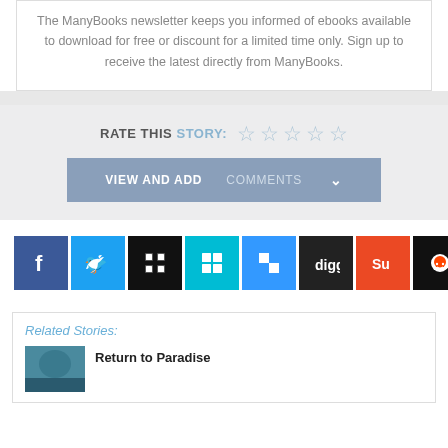The ManyBooks newsletter keeps you informed of ebooks available to download for free or discount for a limited time only. Sign up to receive the latest directly from ManyBooks.
RATE THIS STORY: ☆☆☆☆☆
VIEW AND ADD COMMENTS ∨
[Figure (other): Row of social media sharing icons: Facebook (blue), Twitter (light blue), a grid/apps icon (black), Windows logo (teal/blue), Delicious (blue checker), Digg (dark), StumbleUpon (orange), Reddit (black)]
Related Stories:
Return to Paradise